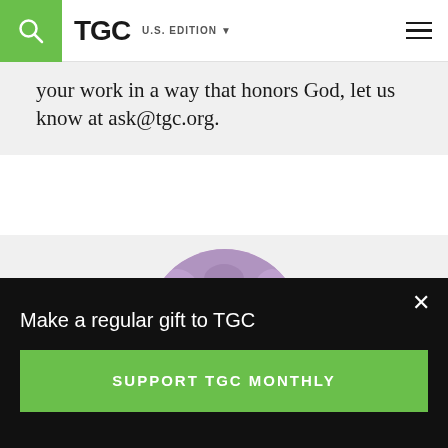TGC | U.S. EDITION
your work in a way that honors God, let us know at ask@tgc.org.
[Figure (photo): Circular portrait photo of a woman with dark hair and glasses wearing a red top and black jacket, standing in front of blurred pink flowers]
Make a regular gift to TGC
SUPPORT TGC MONTHLY